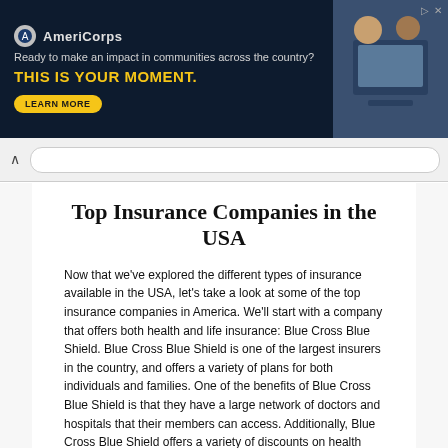[Figure (other): AmeriCorps advertisement banner with dark navy background, logo, tagline 'Ready to make an impact in communities across the country?', CTA text 'THIS IS YOUR MOMENT.', Learn More button, and photo of people at computers]
Top Insurance Companies in the USA
Now that we've explored the different types of insurance available in the USA, let's take a look at some of the top insurance companies in America. We'll start with a company that offers both health and life insurance: Blue Cross Blue Shield. Blue Cross Blue Shield is one of the largest insurers in the country, and offers a variety of plans for both individuals and families. One of the benefits of Blue Cross Blue Shield is that they have a large network of doctors and hospitals that their members can access. Additionally, Blue Cross Blue Shield offers a variety of discounts on health and wellness products and services. However, one downside of Blue Cross Blue Shield is that their rates can be expensive, especially if you do not qualify for any discounts.
Next, we'll take a look at another top insurance company in America: UnitedHealthcare. UnitedHealthcare is one of the largest insurers in the country, and offers a variety of plans for both individuals and families. One benefit of UnitedHealthcare is